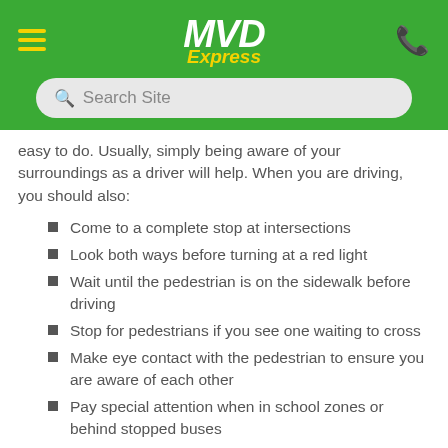MVD Express
easy to do. Usually, simply being aware of your surroundings as a driver will help. When you are driving, you should also:
Come to a complete stop at intersections
Look both ways before turning at a red light
Wait until the pedestrian is on the sidewalk before driving
Stop for pedestrians if you see one waiting to cross
Make eye contact with the pedestrian to ensure you are aware of each other
Pay special attention when in school zones or behind stopped buses